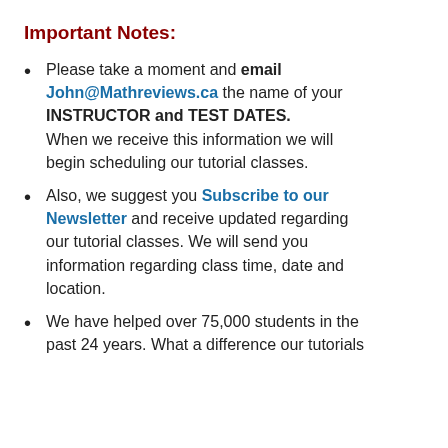Important Notes:
Please take a moment and email John@Mathreviews.ca the name of your INSTRUCTOR and TEST DATES. When we receive this information we will begin scheduling our tutorial classes.
Also, we suggest you Subscribe to our Newsletter and receive updated regarding our tutorial classes. We will send you information regarding class time, date and location.
We have helped over 75,000 students in the past 24 years. What a difference our tutorials